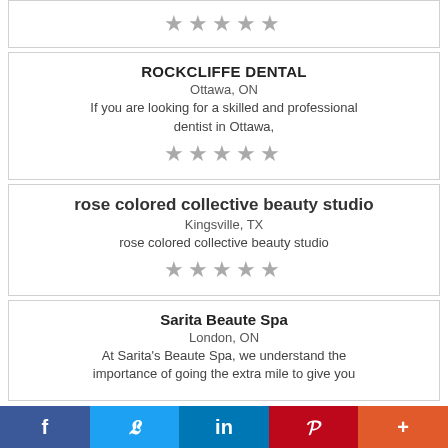[Figure (other): Star rating row (5 stars, grey) at top of page, partial card]
ROCKCLIFFE DENTAL
Ottawa, ON
If you are looking for a skilled and professional dentist in Ottawa,
[Figure (other): Star rating row (5 stars, grey)]
rose colored collective beauty studio
Kingsville, TX
rose colored collective beauty studio
[Figure (other): Star rating row (5 stars, grey)]
Sarita Beaute Spa
London, ON
At Sarita's Beaute Spa, we understand the importance of going the extra mile to give you
f  Twitter  in  P  +